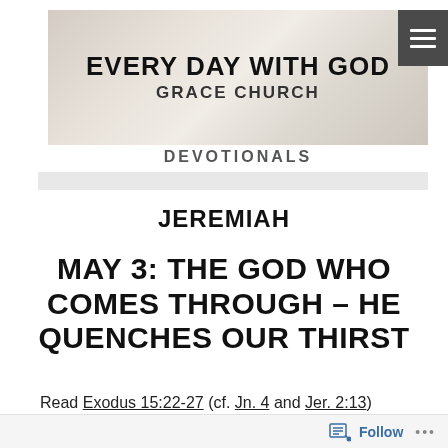[Figure (screenshot): Banner image showing an open Bible/notebook on a white surface with the text EVERY DAY WITH GOD and GRACE CHURCH overlaid]
DEVOTIONALS
JEREMIAH
MAY 3: THE GOD WHO COMES THROUGH – HE QUENCHES OUR THIRST
Read Exodus 15:22-27 (cf. Jn. 4 and Jer. 2:13)